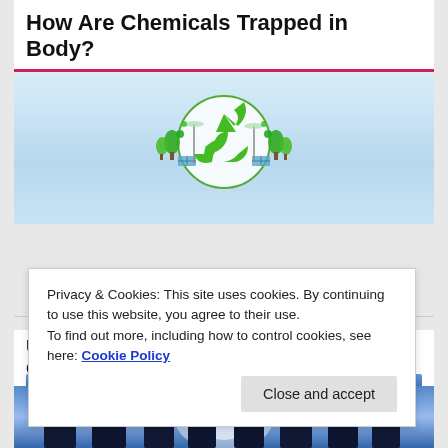How Are Chemicals Trapped in Body?
[Figure (illustration): Green recycling/sustainability icon with circular arrows surrounded by green trees, solar panels, wind turbines, and nature elements on a light blue gradient background.]
UNIVERSITIES, INSTITUTES, R&D CENTRES
[Figure (illustration): Blue header bar for a section about universities, institutes and R&D centres.]
Privacy & Cookies: This site uses cookies. By continuing to use this website, you agree to their use.
To find out more, including how to control cookies, see here: Cookie Policy
[Figure (photo): Silhouettes of graduates in graduation gowns and caps against a bright backlit sky, blue-toned.]